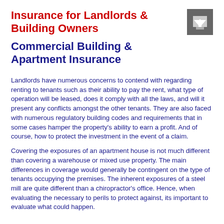Insurance for Landlords & Building Owners
Commercial Building & Apartment Insurance
Landlords have numerous concerns to contend with regarding renting to tenants such as their ability to pay the rent, what type of operation will be leased, does it comply with all the laws, and will it present any conflicts amongst the other tenants. They are also faced with numerous regulatory building codes and requirements that in some cases hamper the property's ability to earn a profit.  And of course, how to protect the investment in the event of a claim.
Covering the exposures of an apartment house is not much different than covering a warehouse or mixed use property.  The main differences in coverage would generally be contingent on the type of tenants occupying the premises.  The inherent exposures of a steel mill are quite different than a chiropractor's office.  Hence, when evaluating the necessary to perils to protect against, its important to evaluate what could happen.